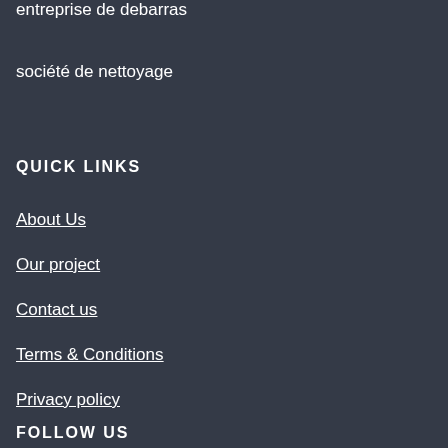entreprise de debarras
société de nettoyage
QUICK LINKS
About Us
Our project
Contact us
Terms & Conditions
Privacy policy
FOLLOW US